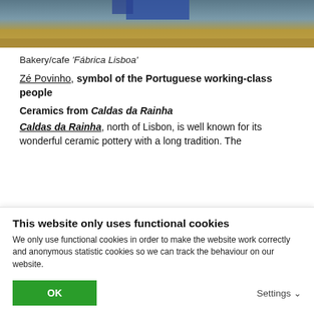[Figure (photo): Top portion of a photo showing a bakery/cafe interior with wooden shelf and blue object visible at top]
Bakery/cafe 'Fábrica Lisboa'
Zé Povinho, symbol of the Portuguese working-class people
Ceramics from Caldas da Rainha
Caldas da Rainha, north of Lisbon, is well known for its wonderful ceramic pottery with a long tradition. The
This website only uses functional cookies
We only use functional cookies in order to make the website work correctly and anonymous statistic cookies so we can track the behaviour on our website.
OK
Settings